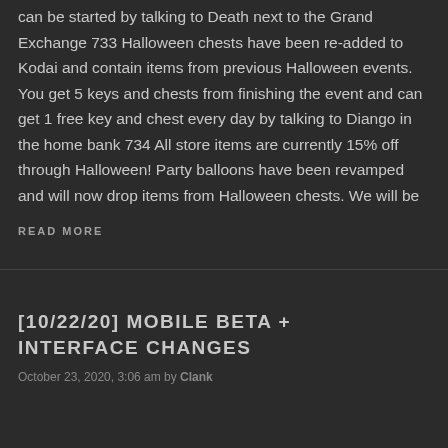can be started by talking to Death next to the Grand Exchange 733 Halloween chests have been re-added to Kodai and contain items from previous Halloween events. You get 5 keys and chests from finishing the event and can get 1 free key and chest every day by talking to Diango in the home bank 734 All store items are currently 15% off through Halloween! Party balloons have been revamped and will now drop items from Halloween chests. We will be
READ MORE
[10/22/20] MOBILE BETA + INTERFACE CHANGES
October 23, 2020, 3:06 am by Clank